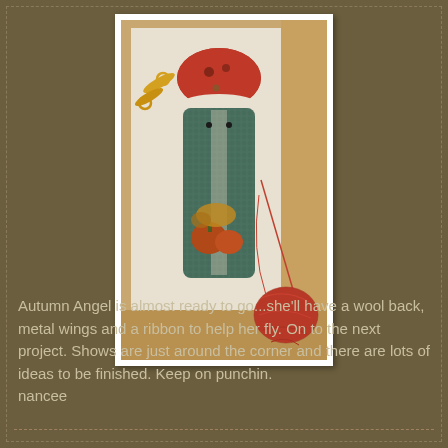[Figure (photo): A punch needle embroidery project called Autumn Angel in a wooden frame. The piece shows an angel figure in teal/green with a red pumpkin and orange/gold accents, topped with a red mushroom-shaped hat. Gold scissors and a ball of red-orange yarn are visible alongside the needlework on a light background.]
Autumn Angel is almost ready to go...she'll have a wool back, metal wings and a ribbon to help her fly.  On to the next project.  Shows are just around the corner and there are lots of ideas to be finished.  Keep on punchin. nancee